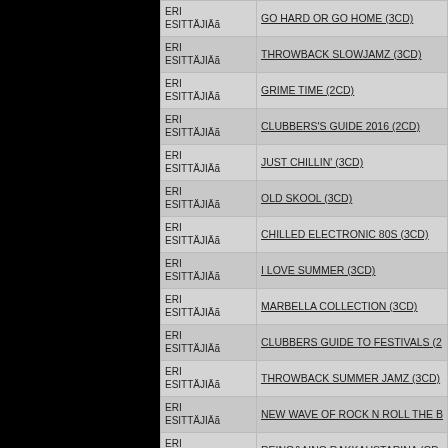| Artist | Title |
| --- | --- |
| ERI ESITTÄJIÄ | GO HARD OR GO HOME (3CD) |
| ERI ESITTÄJIÄ | THROWBACK SLOWJAMZ (3CD) |
| ERI ESITTÄJIÄ | GRIME TIME (2CD) |
| ERI ESITTÄJIÄ | CLUBBERS'S GUIDE 2016 (2CD) |
| ERI ESITTÄJIÄ | JUST CHILLIN' (3CD) |
| ERI ESITTÄJIÄ | OLD SKOOL (3CD) |
| ERI ESITTÄJIÄ | CHILLED ELECTRONIC 80S (3CD) |
| ERI ESITTÄJIÄ | I LOVE SUMMER (3CD) |
| ERI ESITTÄJIÄ | MARBELLA COLLECTION (3CD) |
| ERI ESITTÄJIÄ | CLUBBERS GUIDE TO FESTIVALS (2... |
| ERI ESITTÄJIÄ | THROWBACK SUMMER JAMZ (3CD) |
| ERI ESITTÄJIÄ | NEW WAVE OF ROCK N ROLL THE B... |
| ERI ESITTÄJIÄ | REINO&AINO RAKKAUSTARINA (CD... |
| ERI ESITTÄJIÄ | ALGO SALVAJE VOL 3 * (2LP) |
| ERI ESITTÄJIÄ | 10 YEARS OF MONKEYTOWN (CD) |
| ERI ESITTÄJIÄ | 10 YEARS OF MONKEYTOWN (2LP) |
| ERI ESITTÄJIÄ | JAM ON GUITARS (CD) |
| ERI ESITTÄJIÄ | METALVILLE - TEN YEARS OF ROC... |